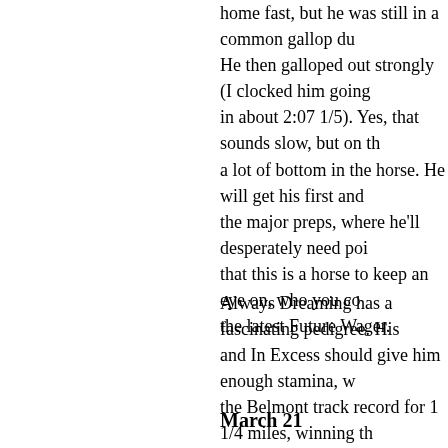home fast, but he was still in a common gallop du He then galloped out strongly (I clocked him going in about 2:07 1/5). Yes, that sounds slow, but on th a lot of bottom in the horse. He will get his first and the major preps, where he'll desperately need poi that this is a horse to keep an eye on, who you co the latest Future Wager.
Always Dreaming has a fascinating pedigree. His and In Excess should give him enough stamina, w the Belmont track record for 1 1/4 miles, winning th blazing 1:58 1/5. His second dam is by a half-broth tail-female line has some old-fashioned California dam being by Terrang, winner of the Santa Anita H Derby, and Terrang being a son of Khaled, the sire
March 21